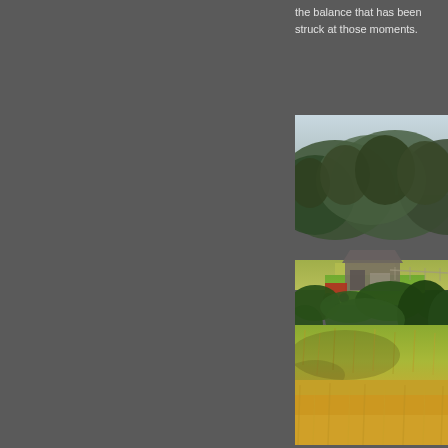the balance that has been struck at those moments.
[Figure (photo): Rural farm scene showing golden grass field in foreground, green shrubs and trees in middle ground, a barn or farm building, red vehicle partially visible, more trees and agricultural fields beyond, with forested hillside in background and misty sky at top.]